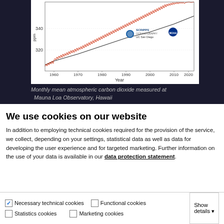[Figure (continuous-plot): Keeling Curve: Monthly mean atmospheric CO2 measured at Mauna Loa Observatory, Hawaii. Shows rising CO2 from ~315 ppm in 1958 to ~420 ppm in 2022, with seasonal oscillations (red zigzag) and a smoothed trend line (black). Y-axis labeled 'ppm', x-axis labeled 'Year' with ticks at 1960, 1970, 1980, 1990, 2000, 2010, 2020. Logos for Scripps Institution of Oceanography / UC San Diego and NOAA visible.]
Monthly mean atmospheric carbon dioxide measured at Mauna Loa Observatory, Hawaii
We use cookies on our website
In addition to employing technical cookies required for the provision of the service, we collect, depending on your settings, statistical data as well as data for developing the user experience and for targeted marketing. Further information on the use of your data is available in our data protection statement.
Allow all cookies
Allow selection
Use necessary cookies only
Necessary technical cookies | Functional cookies | Show details | Statistics cookies | Marketing cookies